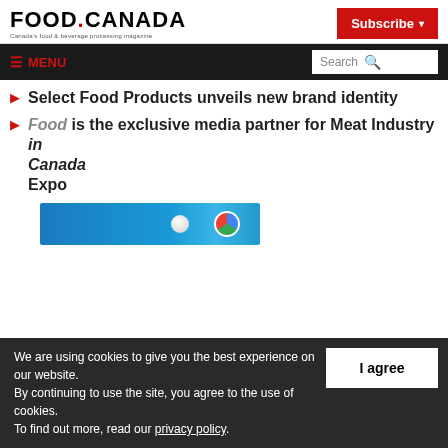FOOD in CANADA — Canada's food & beverage processing magazine
Select Food Products unveils new brand identity
Food in Canada is the exclusive media partner for Meat Industry in Canada Expo
[Figure (screenshot): Partial screenshot of a browser window showing a blue background with a white circle/globe icon and Chrome browser icon]
We are using cookies to give you the best experience on our website. By continuing to use the site, you agree to the use of cookies. To find out more, read our privacy policy.